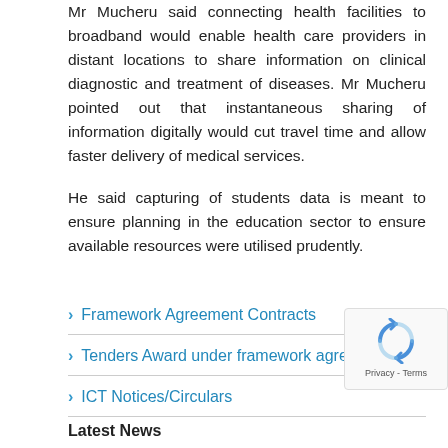Mr Mucheru said connecting health facilities to broadband would enable health care providers in distant locations to share information on clinical diagnostic and treatment of diseases. Mr Mucheru pointed out that instantaneous sharing of information digitally would cut travel time and allow faster delivery of medical services.
He said capturing of students data is meant to ensure planning in the education sector to ensure available resources were utilised prudently.
Framework Agreement Contracts
Tenders Award under framework agreements
ICT Notices/Circulars
[Figure (other): reCAPTCHA widget showing recycling arrows icon with 'Privacy - Terms' label]
Latest News